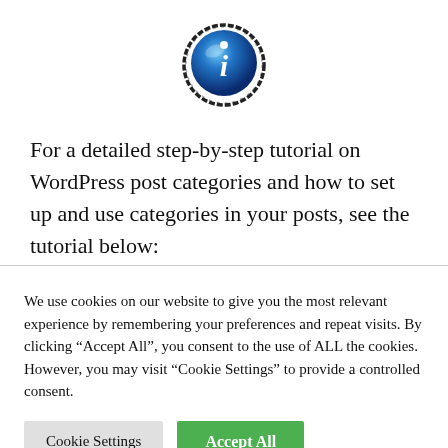[Figure (logo): Blue information 'i' icon with hand-drawn circle border]
For a detailed step-by-step tutorial on WordPress post categories and how to set up and use categories in your posts, see the tutorial below:
We use cookies on our website to give you the most relevant experience by remembering your preferences and repeat visits. By clicking "Accept All", you consent to the use of ALL the cookies. However, you may visit "Cookie Settings" to provide a controlled consent.